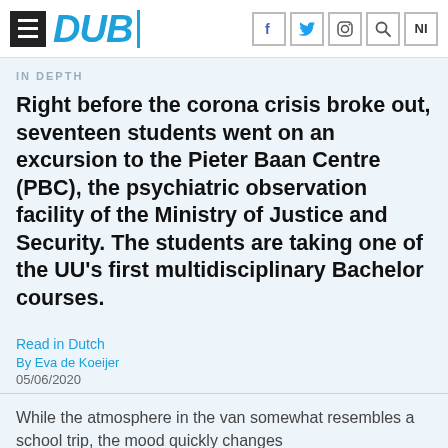[Figure (logo): DUB website header with hamburger menu icon, DUB logo in blue italic bold, a vertical blue divider, and social/nav icons (f, bird/twitter, instagram, search, NL) on the right]
IN DEPTH
Right before the corona crisis broke out, seventeen students went on an excursion to the Pieter Baan Centre (PBC), the psychiatric observation facility of the Ministry of Justice and Security. The students are taking one of the UU’s first multidisciplinary Bachelor courses.
Read in Dutch
By Eva de Koeijer
05/06/2020
While the atmosphere in the van somewhat resembles a school trip, the mood quickly changes